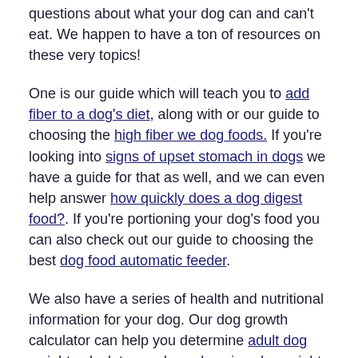questions about what your dog can and can't eat. We happen to have a ton of resources on these very topics!
One is our guide which will teach you to add fiber to a dog's diet, along with or our guide to choosing the high fiber we dog foods. If you're looking into signs of upset stomach in dogs we have a guide for that as well, and we can even help answer how quickly does a dog digest food?. If you're portioning your dog's food you can also check out our guide to choosing the best dog food automatic feeder.
We also have a series of health and nutritional information for your dog. Our dog growth calculator can help you determine adult dog weight calculator, and our dog sizes by weight chart can help you determine if your dog is the proper weight and size, and we even have a collection of breed-specific growth charts which can answer questions like how big is a goldendoodle puppy?, how big is a great dane puppy?, how big is a golden retriever puppy?, how big is a chihuahua puppy?, or how